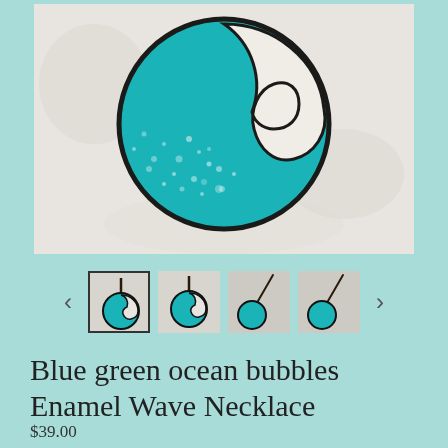[Figure (photo): Close-up photo of a teal/turquoise enamel wave pendant necklace with a circular wave cutout design and sparkling bubble texture, photographed on a white sandy/shell background]
[Figure (photo): Thumbnail gallery of four small images showing the necklace from different angles, with navigation arrows on each side]
Blue green ocean bubbles Enamel Wave Necklace
$39.00